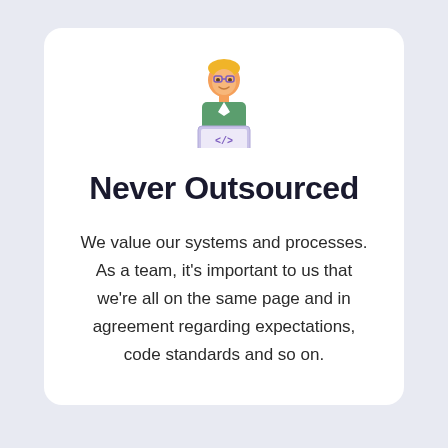[Figure (illustration): Icon of a developer/programmer person with an orange head, green jacket, sitting behind a laptop showing '</>' code symbol. Colorful flat icon style.]
Never Outsourced
We value our systems and processes. As a team, it’s important to us that we’re all on the same page and in agreement regarding expectations, code standards and so on.